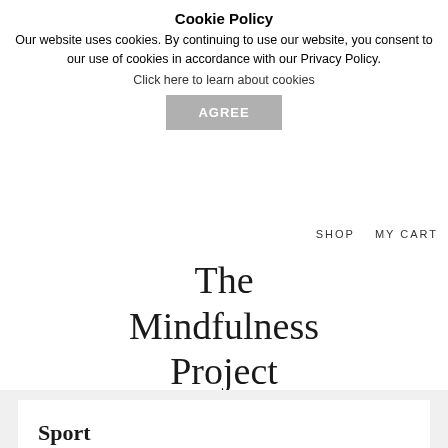Cookie Policy
Our website uses cookies. By continuing to use our website, you consent to our use of cookies in accordance with our Privacy Policy.
Click here to learn about cookies
AGREE
SHOP   MY CART
The Mindfulness Project
Sport
23 June, 2022